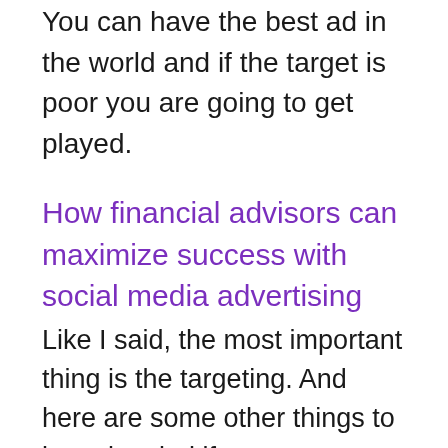You can have the best ad in the world and if the target is poor you are going to get played.
How financial advisors can maximize success with social media advertising
Like I said, the most important thing is the targeting. And here are some other things to keep in mind if you are a financial advisor looking to get the most out of your social media advertising